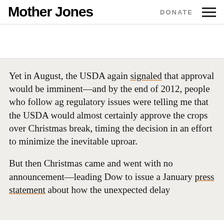Mother Jones | DONATE
[Figure (other): Partially visible image or banner below the header navigation]
Yet in August, the USDA again signaled that approval would be imminent—and by the end of 2012, people who follow ag regulatory issues were telling me that the USDA would almost certainly approve the crops over Christmas break, timing the decision in an effort to minimize the inevitable uproar.
But then Christmas came and went with no announcement—leading Dow to issue a January press statement about how the unexpected delay